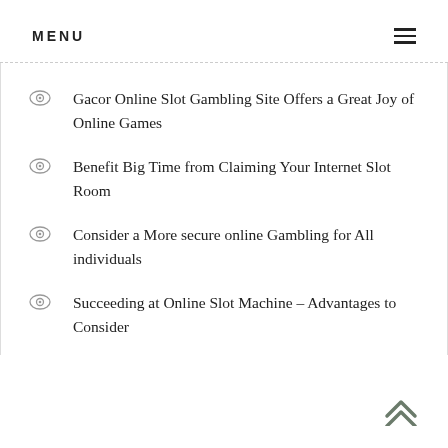MENU
Gacor Online Slot Gambling Site Offers a Great Joy of Online Games
Benefit Big Time from Claiming Your Internet Slot Room
Consider a More secure online Gambling for All individuals
Succeeding at Online Slot Machine – Advantages to Consider